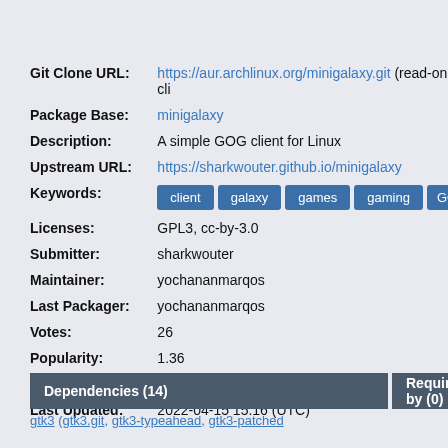Git Clone URL: https://aur.archlinux.org/minigalaxy.git (read-only, cli...)
Package Base: minigalaxy
Description: A simple GOG client for Linux
Upstream URL: https://sharkwouter.github.io/minigalaxy
Keywords: client  galaxy  games  gaming  GO...
Licenses: GPL3, cc-by-3.0
Submitter: sharkwouter
Maintainer: yochananmarqos
Last Packager: yochananmarqos
Votes: 26
Popularity: 1.36
First Submitted: 2019-12-25 12:18 (UTC)
Last Updated: 2022-04-15 15:16 (UTC)
Dependencies (14)
Required by (0)
gtk3 (gtk3.git, gtk3-typeahead, gtk3-patched...